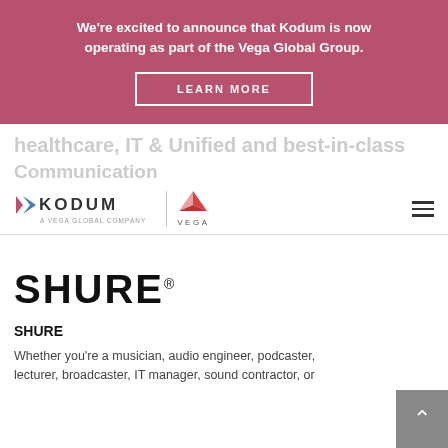We're excited to announce that Kodum is now operating as part of the Vega Global Group.
LEARN MORE
Healthcare, IT & Unified Communications
Communication
[Figure (logo): Kodum - A Vega Global Company logo, and Vega logo with red triangle icon]
[Figure (logo): SHURE logo in bold black text]
SHURE
Whether you're a musician, audio engineer, podcaster, lecturer, broadcaster, IT manager, sound contractor, or